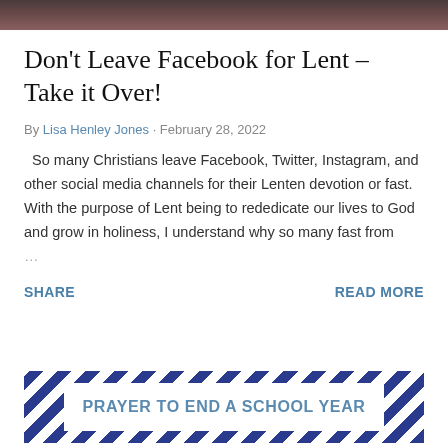[Figure (photo): Dark reddish-brown top image strip, partial photo]
Don't Leave Facebook for Lent – Take it Over!
By Lisa Henley Jones · February 28, 2022
So many Christians leave Facebook, Twitter, Instagram, and other social media channels for their Lenten devotion or fast. With the purpose of Lent being to rededicate our lives to God and grow in holiness, I understand why so many fast from …
SHARE
READ MORE
[Figure (infographic): Blue and white diagonal striped banner with text PRAYER TO END A SCHOOL YEAR]